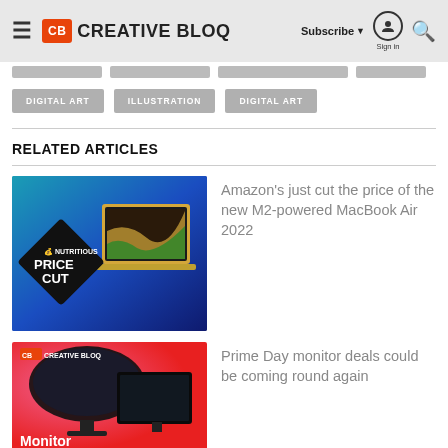Creative Bloq — Subscribe | Sign in | Search
DIGITAL ART
ILLUSTRATION
DIGITAL ART
RELATED ARTICLES
[Figure (photo): Price Cut promotional image showing MacBook Air with diamond-shaped 'PRICE CUT' badge on blue background]
Amazon's just cut the price of the new M2-powered MacBook Air 2022
[Figure (photo): Creative Bloq Monitor deals promotional image showing curved monitor on pink/red background with text 'Monitor']
Prime Day monitor deals could be coming round again